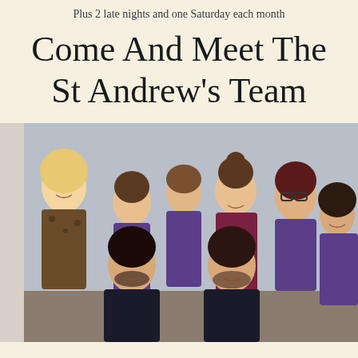Plus 2 late nights and one Saturday each month
Come And Meet The St Andrew's Team
[Figure (photo): Group photo of the St Andrew's dental team, 9 people including men and women, some in purple scrubs, one in maroon scrubs, one in a leopard print dress, posed together in two rows against a light grey wall.]